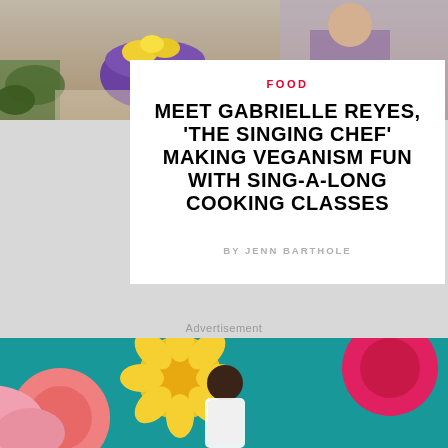[Figure (photo): Top banner photo showing a colorful food scene with a purple bowl of fruit and a person in purple clothing]
FOOD
MEET GABRIELLE REYES, ‘THE SINGING CHEF’ MAKING VEGANISM FUN WITH SING-A-LONG COOKING CLASSES
BY JENN BARTHOLE
Advertisement
[Figure (photo): Bottom banner photo showing a person surrounded by large colorful paper flowers on a teal background]